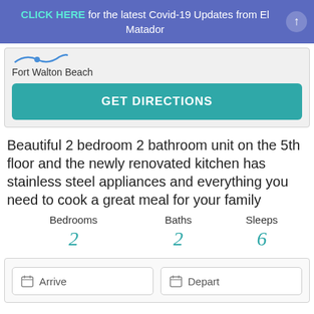CLICK HERE for the latest Covid-19 Updates from El Matador
[Figure (map): Map image partial view with Fort Walton Beach label]
GET DIRECTIONS
Beautiful 2 bedroom 2 bathroom unit on the 5th floor and the newly renovated kitchen has stainless steel appliances and everything you need to cook a great meal for your family
| Bedrooms | Baths | Sleeps |
| --- | --- | --- |
| 2 | 2 | 6 |
Arrive   Depart